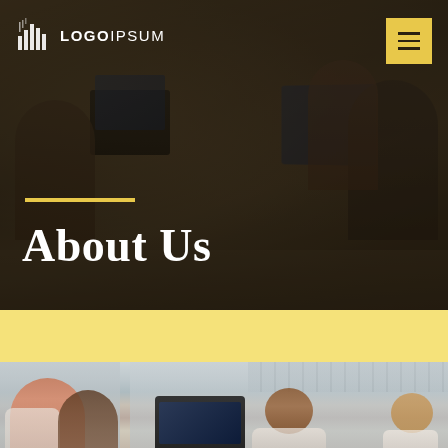[Figure (photo): Hero section with dark-overlaid office photo showing team working at laptops around a conference table]
LOGOIPSUM
About Us
[Figure (photo): Office interior with people working, bottom section of page]